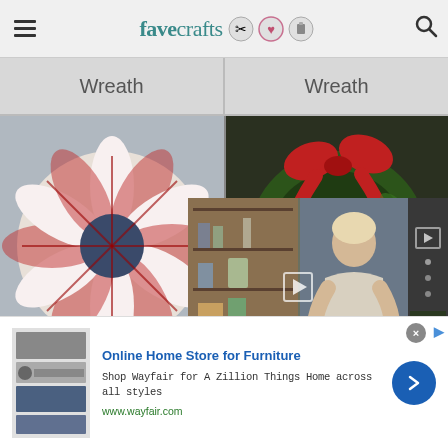favecrafts
Wreath  Wreath
[Figure (photo): Red and white ribbon wreath on left panel; Christmas greenery wreath with red bow on right panel]
Easy Ribbon Wrea...
[Figure (screenshot): Video overlay showing woman at craft table with bookshelf background, play button, progress bar, and sidebar controls]
[Figure (photo): Bottom partial: pine wreath with pink/red flowers on left; red stockings and Christmas greenery on right]
Online Home Store for Furniture
Shop Wayfair for A Zillion Things Home across all styles
www.wayfair.com